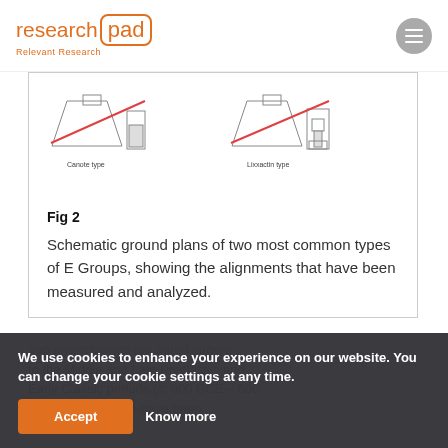research pad — Relevant Research
[Figure (schematic): Schematic ground plans showing two types: Canote type and Lixxactin type, with diagonal red lines indicating alignments]
Fig 2
Schematic ground plans of two most common types of E Groups, showing the alignments that have been measured and analyzed.
pop assemblages are dated largely to the Middle and Late Preclassic and Early Classic periods (c. 800 BCE – 600 CE) and numerous have been recorded
We use cookies to enhance your experience on our website. You can change your cookie settings at any time.